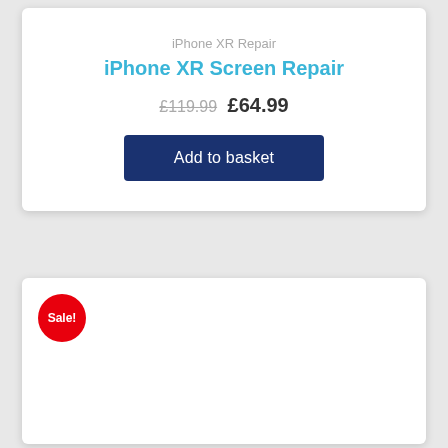iPhone XR Repair
iPhone XR Screen Repair
£119.99 £64.99
Add to basket
Sale!